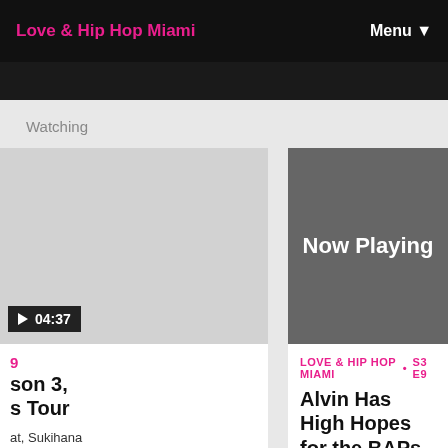Love & Hip Hop Miami | Menu
Watching
[Figure (screenshot): Thumbnail card partially cut off on left side, showing a light gray video thumbnail with a play button and timer showing 04:37. Below shows episode label (E9), partial title 'son 3, s Tour', and partial description text 'at, Sukihana']
[Figure (screenshot): Main Now Playing video thumbnail — dark gray rectangle with white bold text 'Now Playing' centered]
LOVE & HIP HOP MIAMI • S3 E9
Alvin Has High Hopes for the BAPs Tour
As they head to the first BAPs Tour show, Bobby Lytes questions Alvin's